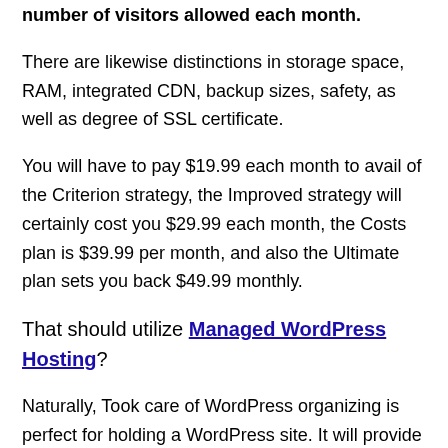number of visitors allowed each month.
There are likewise distinctions in storage space, RAM, integrated CDN, backup sizes, safety, as well as degree of SSL certificate.
You will have to pay $19.99 each month to avail of the Criterion strategy, the Improved strategy will certainly cost you $29.99 each month, the Costs plan is $39.99 per month, and also the Ultimate plan sets you back $49.99 monthly.
That should utilize Managed WordPress Hosting?
Naturally, Took care of WordPress organizing is perfect for holding a WordPress site. It will provide high levels of efficiency and security.
Additionally, it comes furnished with custom-made devices as well as progressed cPanel, making it simple for you to manage your website.